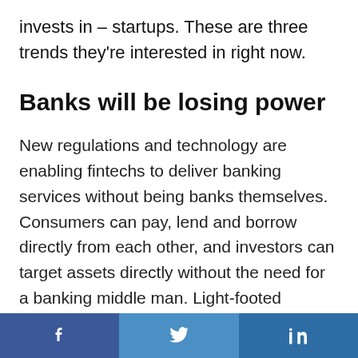invests in – startups. These are three trends they're interested in right now.
Banks will be losing power
New regulations and technology are enabling fintechs to deliver banking services without being banks themselves. Consumers can pay, lend and borrow directly from each other, and investors can target assets directly without the need for a banking middle man. Light-footed startups are assailing the profitable legacy
f  (Twitter bird)  in